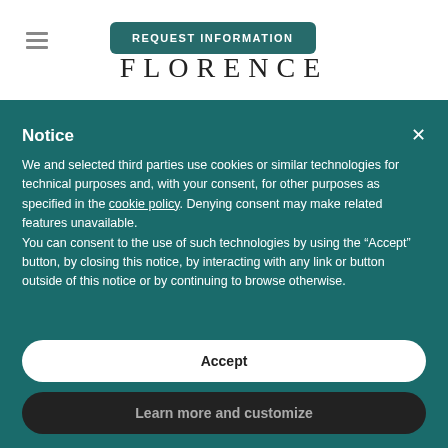[Figure (screenshot): Hamburger menu icon (three horizontal lines) in the top-left area of a website header]
REQUEST INFORMATION
FLORENCE
Notice
We and selected third parties use cookies or similar technologies for technical purposes and, with your consent, for other purposes as specified in the cookie policy. Denying consent may make related features unavailable.
You can consent to the use of such technologies by using the “Accept” button, by closing this notice, by interacting with any link or button outside of this notice or by continuing to browse otherwise.
Accept
Learn more and customize